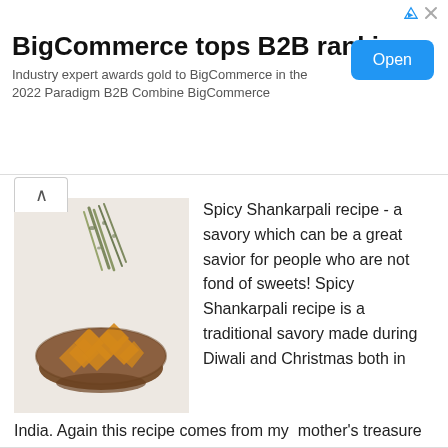[Figure (infographic): Advertisement banner for BigCommerce with title, subtitle, and Open button]
BigCommerce tops B2B rankings
Industry expert awards gold to BigCommerce in the 2022 Paradigm B2B Combine BigCommerce
[Figure (photo): Bowl of spicy shankarpali snacks with herbs/spices sprinkled on top, on a white background]
Spicy Shankarpali recipe - a savory which can be a great savior for people who are not fond of sweets! Spicy Shankarpali recipe is a traditional savory made during Diwali and Christmas both in India. Again this recipe comes from my mother's treasure bank. Specially towards Maharashtra and Konkan Belt this is commonly made and sold in stores. Similarly sweet shankarpali is ... [Read more...]